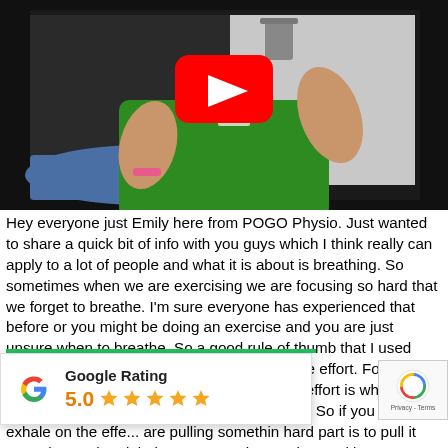[Figure (screenshot): Video thumbnail showing a woman in a green shirt in a clinical/gym setting with a YouTube play button overlay in red and white]
Hey everyone just Emily here from POGO Physio. Just wanted to share a quick bit of info with you guys which I think really can apply to a lot of people and what it is about is breathing. So sometimes when we are exercising we are focusing so hard that we forget to breathe. I'm sure everyone has experienced that before or you might be doing an exercise and you are just unsure when to breathe. So a good rule of thumb that I used when it comes to breathing is to exhale on the effort. For example, if you are getting out of a chair the effort is when you are pushing up through your legs to stand up. So if you want to exhale on the effort... are pulling something hard part is to pull it towards you then inhale as you ret the starting position. Some things can be a little tricky but it's a
[Figure (other): Google Rating overlay widget showing 5.0 stars and Google G logo]
[Figure (other): reCAPTCHA badge with Privacy - Terms text]